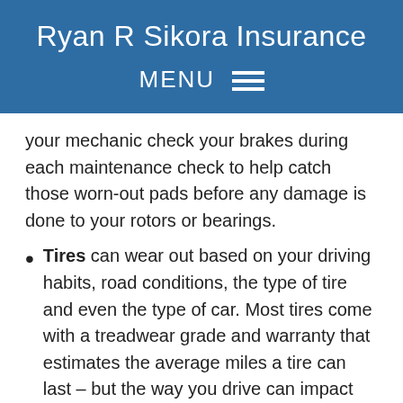Ryan R Sikora Insurance
MENU ≡
your mechanic check your brakes during each maintenance check to help catch those worn-out pads before any damage is done to your rotors or bearings.
Tires can wear out based on your driving habits, road conditions, the type of tire and even the type of car. Most tires come with a treadwear grade and warranty that estimates the average miles a tire can last – but the way you drive can impact that number, too. Try this